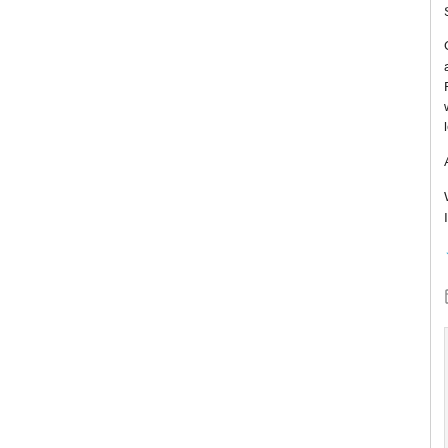SubhanAllah, how...
On the authority o... and he said: "You... Righteousness is w... wavers in the soul... legal opinion [in its...
A good hadith tra...
Wael
IslamicAnswers.co...
Loading...
Reply
I agree com...

The 'secret'... prepare the... this man ha...